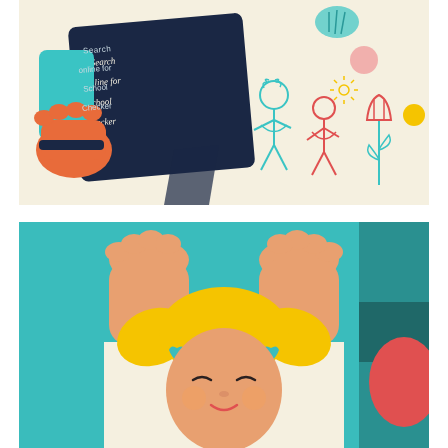[Figure (illustration): Colorful illustration showing an orange hand holding a dark navy chalkboard sign with white handwritten text reading 'Search online for School Checker', alongside a child's drawing of two figures and a flower on a cream background with decorative elements including a teal shell shape, pink circle, and yellow dot.]
[Figure (illustration): Colorful illustration on a teal background showing a blonde child with pigtails (yellow hair with teal heart clips) being lifted by adult hands, eyes closed and smiling, with a cream-colored bath/basin area visible. A dark teal geometric shape and red shape appear on the right side.]